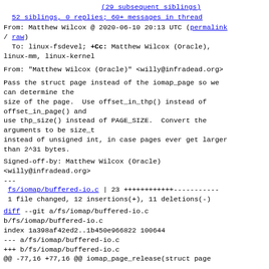(29 subsequent siblings)
52 siblings, 0 replies; 60+ messages in thread
From: Matthew Wilcox @ 2020-06-10 20:13 UTC (permalink / raw)
To: linux-fsdevel; +Cc: Matthew Wilcox (Oracle), linux-mm, linux-kernel
From: "Matthew Wilcox (Oracle)" <willy@infradead.org>
Pass the struct page instead of the iomap_page so we can determine the
size of the page.  Use offset_in_thp() instead of offset_in_page() and
use thp_size() instead of PAGE_SIZE.  Convert the arguments to be size_t
instead of unsigned int, in case pages ever get larger than 2^31 bytes.
Signed-off-by: Matthew Wilcox (Oracle)
<willy@infradead.org>
---
 fs/iomap/buffered-io.c | 23 ++++++++++++-----------
 1 file changed, 12 insertions(+), 11 deletions(-)
diff --git a/fs/iomap/buffered-io.c b/fs/iomap/buffered-io.c
index 1a398af42ed2..1b450e966822 100644
--- a/fs/iomap/buffered-io.c
+++ b/fs/iomap/buffered-io.c
@@ -77,16 +77,16 @@ iomap_page_release(struct page